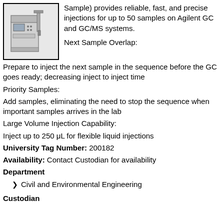[Figure (photo): Photo of Agilent GC autosampler instrument, grey/white laboratory equipment]
Sample) provides reliable, fast, and precise injections for up to 50 samples on Agilent GC and GC/MS systems.
Next Sample Overlap:
Prepare to inject the next sample in the sequence before the GC goes ready; decreasing inject to inject time
Priority Samples:
Add samples, eliminating the need to stop the sequence when important samples arrives in the lab
Large Volume Injection Capability:
Inject up to 250 μL for flexible liquid injections
University Tag Number: 200182
Availability: Contact Custodian for availability
Department
Civil and Environmental Engineering
Custodian